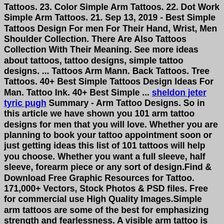Tattoos. 23. Color Simple Arm Tattoos. 22. Dot Work Simple Arm Tattoos. 21. Sep 13, 2019 - Best Simple Tattoos Design For men For Their Hand, Wrist, Men Shoulder Collection. There Are Also Tattoos Collection With Their Meaning. See more ideas about tattoos, tattoo designs, simple tattoo designs. ... Tattoos Arm Mann. Back Tattoos. Tree Tattoos. 40+ Best Simple Tattoos Design Ideas For Man. Tattoo Ink. 40+ Best Simple ... sheldon jeter tyric pugh Summary - Arm Tattoo Designs. So in this article we have shown you 101 arm tattoo designs for men that you will love. Whether you are planning to book your tattoo appointment soon or just getting ideas this list of 101 tattoos will help you choose. Whether you want a full sleeve, half sleeve, forearm piece or any sort of design.Find & Download Free Graphic Resources for Tattoo. 171,000+ Vectors, Stock Photos & PSD files. Free for commercial use High Quality Images.Simple arm tattoos are some of the best for emphasizing strength and fearlessness. A visible arm tattoo is prominent and moves with every action that you take